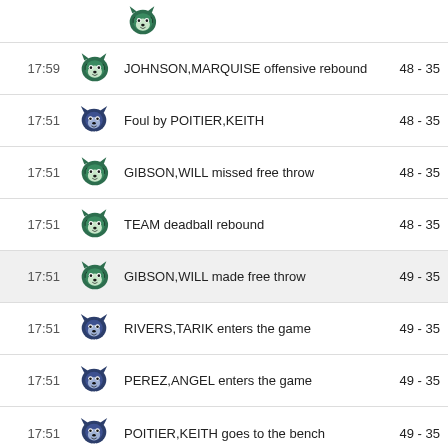| Time | Team | Event | Score |
| --- | --- | --- | --- |
|  | Wildcats |  |  |
| 17:59 | Wildcats | JOHNSON,MARQUISE offensive rebound | 48 - 35 |
| 17:51 | Raiders | Foul by POITIER,KEITH | 48 - 35 |
| 17:51 | Wildcats | GIBSON,WILL missed free throw | 48 - 35 |
| 17:51 | Wildcats | TEAM deadball rebound | 48 - 35 |
| 17:51 | Wildcats | GIBSON,WILL made free throw | 49 - 35 |
| 17:51 | Raiders | RIVERS,TARIK enters the game | 49 - 35 |
| 17:51 | Raiders | PEREZ,ANGEL enters the game | 49 - 35 |
| 17:51 | Raiders | POITIER,KEITH goes to the bench | 49 - 35 |